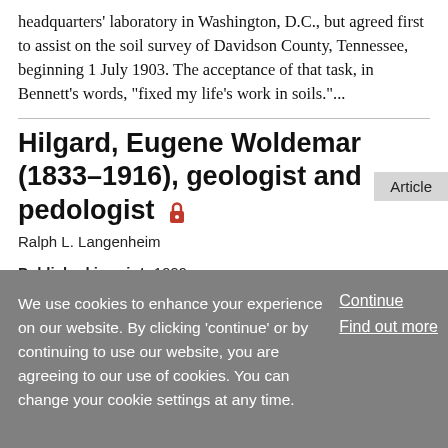headquarters' laboratory in Washington, D.C., but agreed first to assist on the soil survey of Davidson County, Tennessee, beginning 1 July 1903. The acceptance of that task, in Bennett's words, "fixed my life's work in soils."...
Article
Hilgard, Eugene Woldemar (1833–1916), geologist and pedologist 🔒
Ralph L. Langenheim
Published in print: 1999
Published online: February 2000
We use cookies to enhance your experience on our website. By clicking 'continue' or by continuing to use our website, you are agreeing to our use of cookies. You can change your cookie settings at any time.